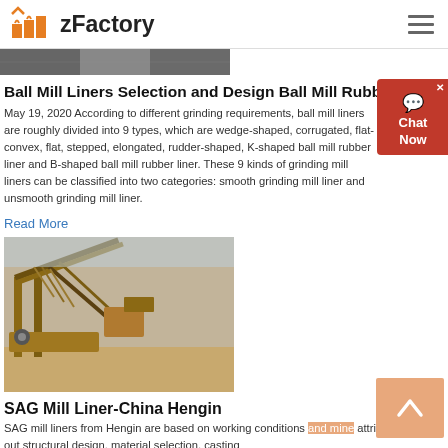zFactory
[Figure (photo): Partial banner/thumbnail image of industrial machinery at top of page]
Ball Mill Liners Selection and Design Ball Mill Rubber Liner
May 19, 2020  According to different grinding requirements, ball mill liners are roughly divided into 9 types, which are wedge-shaped, corrugated, flat-convex, flat, stepped, elongated, rudder-shaped, K-shaped ball mill rubber liner and B-shaped ball mill rubber liner. These 9 kinds of grinding mill liners can be classified into two categories: smooth grinding mill liner and unsmooth grinding mill liner.
Read More
[Figure (photo): Photo of a large industrial SAG mill / mining conveyor equipment on a desert site]
SAG Mill Liner-China Hengin
SAG mill liners from Hengin are based on working conditions and mine attributes to carry out structural design, material selection, casting